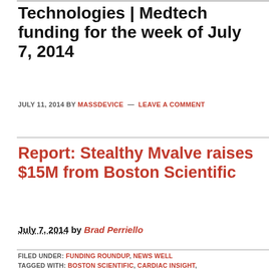Technologies | Medtech funding for the week of July 7, 2014
JULY 11, 2014 BY MASSDEVICE — LEAVE A COMMENT
Report: Stealthy Mvalve raises $15M from Boston Scientific
July 7, 2014 by Brad Perriello
FILED UNDER: FUNDING ROUNDUP, NEWS WELL
TAGGED WITH: BOSTON SCIENTIFIC, CARDIAC INSIGHT,